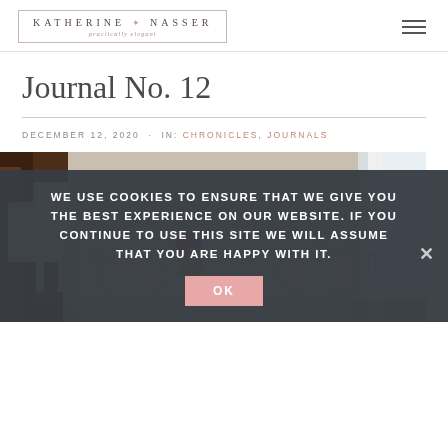[Figure (logo): Katherine Nasser logo with decorative border and tagline 'practically elegant']
Journal No. 12
DECEMBER 12, 2020 · IN: CHRONICLES, JOURNALS
[Figure (photo): Dining table set with decorative plates, red roses, and tableware in a holiday setting]
WE USE COOKIES TO ENSURE THAT WE GIVE YOU THE BEST EXPERIENCE ON OUR WEBSITE. IF YOU CONTINUE TO USE THIS SITE WE WILL ASSUME THAT YOU ARE HAPPY WITH IT.